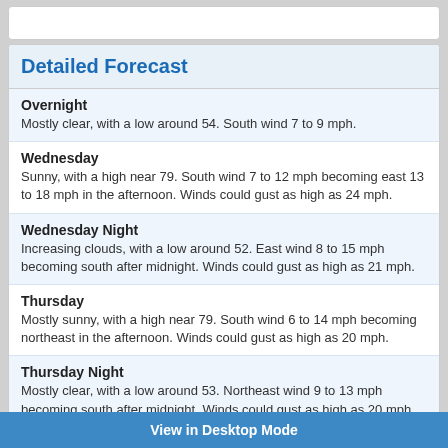Detailed Forecast
Overnight
Mostly clear, with a low around 54. South wind 7 to 9 mph.
Wednesday
Sunny, with a high near 79. South wind 7 to 12 mph becoming east 13 to 18 mph in the afternoon. Winds could gust as high as 24 mph.
Wednesday Night
Increasing clouds, with a low around 52. East wind 8 to 15 mph becoming south after midnight. Winds could gust as high as 21 mph.
Thursday
Mostly sunny, with a high near 79. South wind 6 to 14 mph becoming northeast in the afternoon. Winds could gust as high as 20 mph.
Thursday Night
Mostly clear, with a low around 53. Northeast wind 9 to 13 mph becoming south after midnight. Winds could gust as high as 20 mph.
Friday
A 20 percent chance of showers and thunderstorms after noon. Mostly sunny, with a high near 81. South wind 6 to 14 mph becoming northeast in the afternoon. Winds could gust as high as 20 mph.
View in Desktop Mode